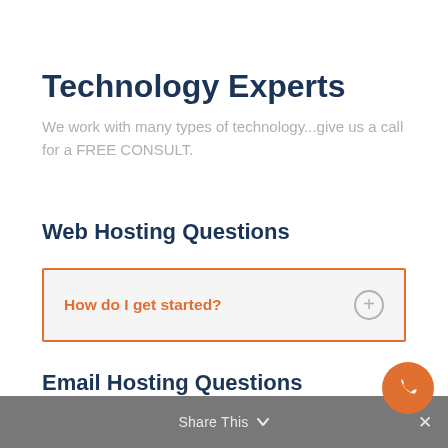Technology Experts
We work with many types of technology...give us a call for a FREE CONSULT.
Web Hosting Questions
How do I get started?
Email Hosting Questions
Share This